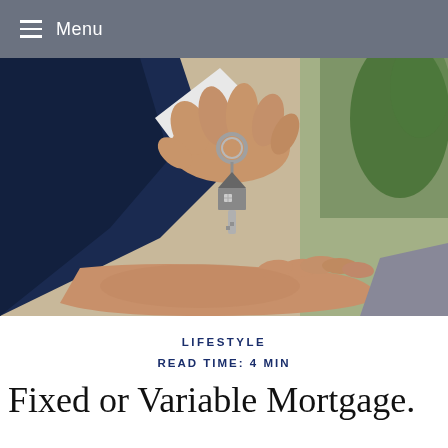Menu
[Figure (photo): Close-up photo of a hand in a business suit holding house-shaped keys on a keychain, being lowered into another open hand below, with blurred background.]
LIFESTYLE
READ TIME: 4 MIN
Fixed or Variable Mortgage.